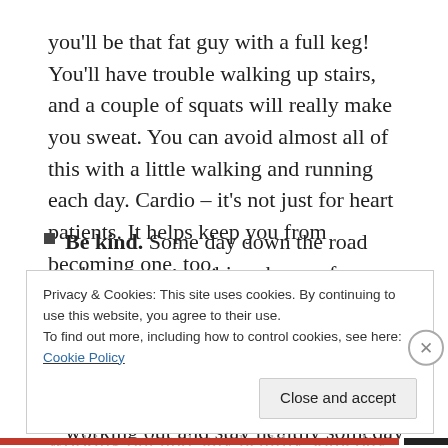you'll be that fat guy with a full keg! You'll have trouble walking up stairs, and a couple of squats will really make you sweat. You can avoid almost all of this with a little walking and running each day. Cardio – it's not just for heart patients. It helps keep you from becoming one, too.
Be kind. Some day down the road when a gym newbie asks you for a spot or advice, give it. Remember where you started. Also, humor that old guy in the gym who tells you that he used to lift 350 pounds. If you keep working out and stay healthy someday that
Privacy & Cookies: This site uses cookies. By continuing to use this website, you agree to their use.
To find out more, including how to control cookies, see here:
Cookie Policy
Close and accept